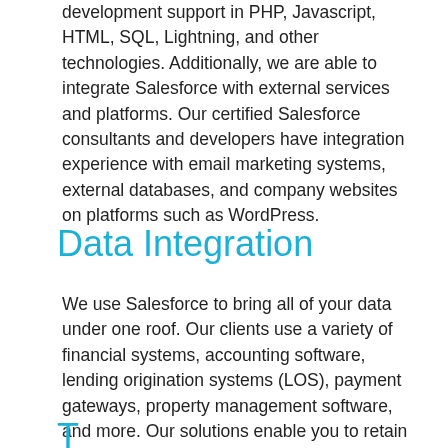development support in PHP, Javascript, HTML, SQL, Lightning, and other technologies. Additionally, we are able to integrate Salesforce with external services and platforms. Our certified Salesforce consultants and developers have integration experience with email marketing systems, external databases, and company websites on platforms such as WordPress.
Data Integration
We use Salesforce to bring all of your data under one roof. Our clients use a variety of financial systems, accounting software, lending origination systems (LOS), payment gateways, property management software, and more. Our solutions enable you to retain interoperability with legacy systems if necessary or migrate off them entirely if you'd prefer. Either way, integrating your data with Salesforce will make your staff's job a whole lot easier.
T...